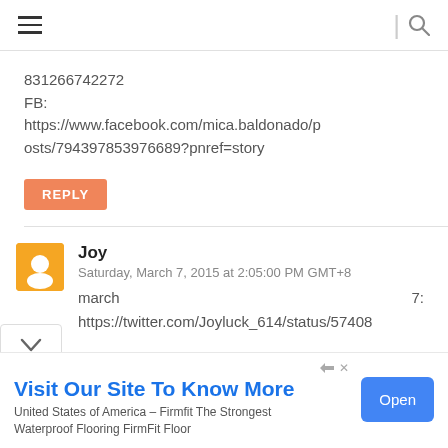menu | search
831266742272
FB:
https://www.facebook.com/mica.baldonado/posts/794397853976689?pnref=story
REPLY
Joy
Saturday, March 7, 2015 at 2:05:00 PM GMT+8
march 7:
https://twitter.com/Joyluck_614/status/57408
Visit Our Site To Know More
United States of America – Firmfit The Strongest Waterproof Flooring FirmFit Floor
Open